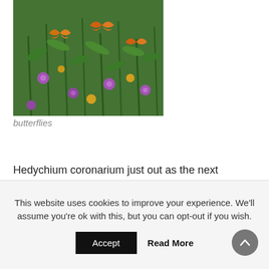[Figure (photo): A garden or wild field scene with green foliage, purple and yellow flowers, and orange butterflies visible among the plants.]
butterflies
Hedychium coronarium just out as the next heatwave is upon us. Some flowers still in bud and some nearly over.
This website uses cookies to improve your experience. We'll assume you're ok with this, but you can opt-out if you wish.
Accept
Read More